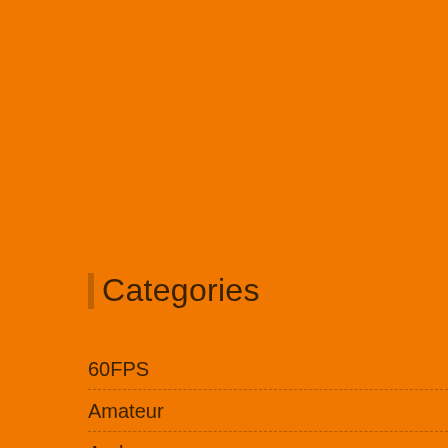Categories
60FPS
Amateur
Arab
Asian
Babysitter